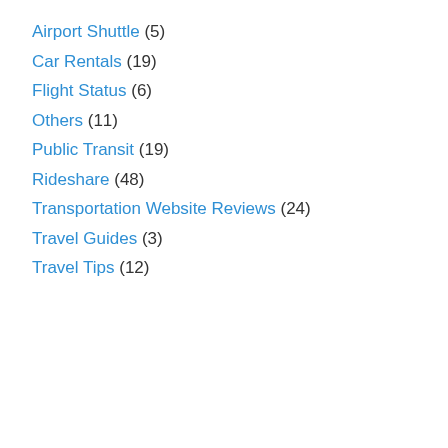Airport Shuttle (5)
Car Rentals (19)
Flight Status (6)
Others (11)
Public Transit (19)
Rideshare (48)
Transportation Website Reviews (24)
Travel Guides (3)
Travel Tips (12)